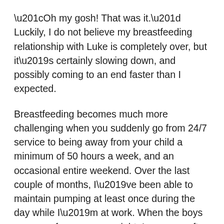“Oh my gosh! That was it.” Luckily, I do not believe my breastfeeding relationship with Luke is completely over, but it’s certainly slowing down, and possibly coming to an end faster than I expected.
Breastfeeding becomes much more challenging when you suddenly go from 24/7 service to being away from your child a minimum of 50 hours a week, and an occasional entire weekend. Over the last couple of months, I’ve been able to maintain pumping at least once during the day while I’m at work. When the boys are gone from me over night, I pump as often as I can, and through that, I was able to maintain a small stash of breastmilk for when Luke and I were apart.
Lately, I have been unsuccessful in the pumping department. I’ve wasted countless hours of accumulated